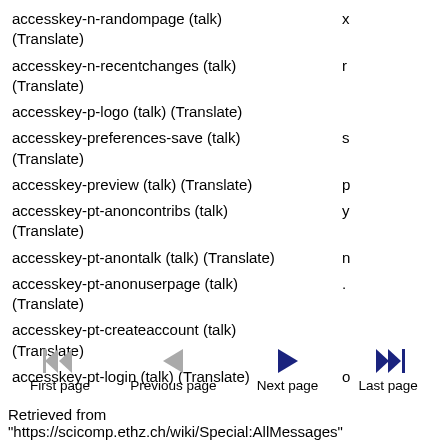| Message name | Value |
| --- | --- |
| accesskey-n-randompage (talk) (Translate) | x |
| accesskey-n-recentchanges (talk) (Translate) | r |
| accesskey-p-logo (talk) (Translate) |  |
| accesskey-preferences-save (talk) (Translate) | s |
| accesskey-preview (talk) (Translate) | p |
| accesskey-pt-anoncontribs (talk) (Translate) | y |
| accesskey-pt-anontalk (talk) (Translate) | n |
| accesskey-pt-anonuserpage (talk) (Translate) | . |
| accesskey-pt-createaccount (talk) (Translate) |  |
| accesskey-pt-login (talk) (Translate) | o |
[Figure (other): Navigation bar with First page (gray double-left arrow), Previous page (gray left arrow), Next page (dark blue right arrow), Last page (dark blue double-right arrow)]
Retrieved from "https://scicomp.ethz.ch/wiki/Special:AllMessages"